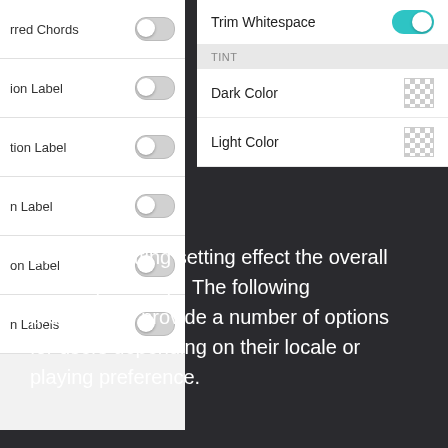[Figure (screenshot): Mobile app settings UI showing two partial panels. Left panel with toggle rows labeled: 'rred Chords', 'ion Label', 'tion Label', 'n Label', 'on Label', 'n Labels' — all toggles off. Right panel showing 'Trim Whitespace' toggle (on/teal), a TINT section header, 'Dark Color' and 'Light Color' rows each with a checkered color swatch.]
Song formatting setting effect the overall drawing of songs. The following preferences provide a number of options for users depending on their locale or playing preference.